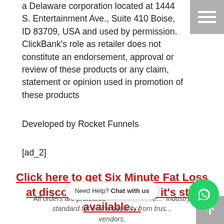a Delaware corporation located at 1444 S. Entertainment Ave., Suite 410 Boise, ID 83709, USA and used by permission. ClickBank's role as retailer does not constitute an endorsement, approval or review of these products or any claim, statement or opinion used in promotion of these products
Developed by Rocket Funnels
[ad_2]
Click here to get Six Minute Fat Loss at discounted price while it's still available…
All orders are protected e... industry standard for online security from trus... vendors.
Need Help? Chat with us